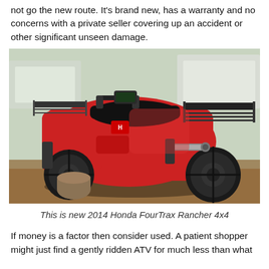not go the new route. It's brand new, has a warranty and no concerns with a private seller covering up an accident or other significant unseen damage.
[Figure (photo): A red 2014 Honda FourTrax Rancher 4x4 ATV parked outdoors on dirt/gravel, with trucks visible in the background. The ATV has a black seat, front and rear cargo racks, and large off-road tires.]
This is new 2014 Honda FourTrax Rancher 4x4
If money is a factor then consider used. A patient shopper might just find a gently ridden ATV for much less than what